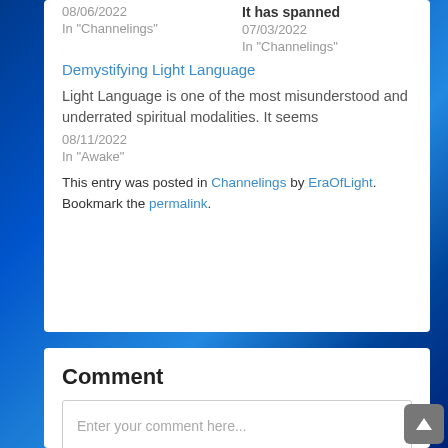08/06/2022
In "Channelings"
It has spanned
07/03/2022
In "Channelings"
Demystifying Light Language
Light Language is one of the most misunderstood and underrated spiritual modalities. It seems
08/11/2022
In "Awake"
This entry was posted in Channelings by EraOfLight. Bookmark the permalink.
Comment
Enter your comment here...